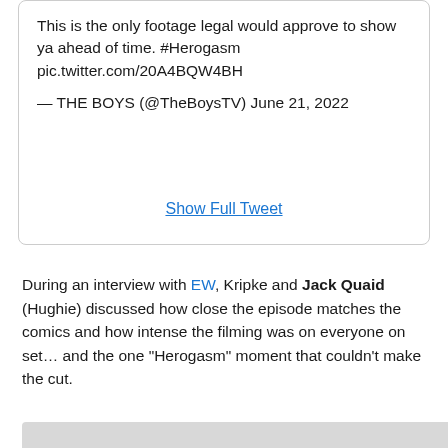This is the only footage legal would approve to show ya ahead of time. #Herogasm pic.twitter.com/20A4BQW4BH

— THE BOYS (@TheBoysTV) June 21, 2022
Show Full Tweet
During an interview with EW, Kripke and Jack Quaid (Hughie) discussed how close the episode matches the comics and how intense the filming was on everyone on set… and the one "Herogasm" moment that couldn't make the cut.
[Figure (photo): Partially visible image placeholder (gray rectangle) at bottom of page]